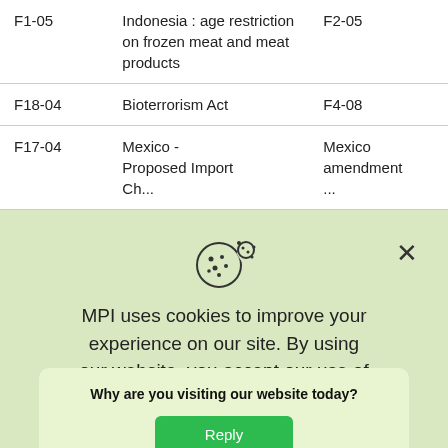| F1-05 | Indonesia : age restriction on frozen meat and meat products | F2-05 |
| F18-04 | Bioterrorism Act | F4-08 |
| F17-04 | Mexico - Proposed Import Ch... | Mexico amendment... |
[Figure (screenshot): Cookie consent modal with cookie icon, X close button, message 'MPI uses cookies to improve your experience on our site. By using our website, you accept our use of cookies', a dropdown chevron, and a survey popup asking 'Why are you visiting our website today?' with a green Reply button]
F13-0...